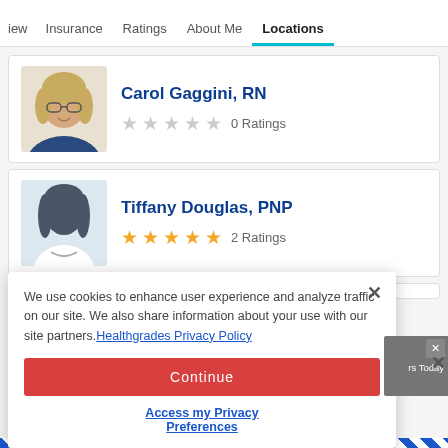iew  Insurance  Ratings  About Me  Locations
[Figure (photo): Headshot photo of Carol Gaggini, RN — a woman with shoulder-length blonde hair and glasses, smiling]
Carol Gaggini, RN
0 Ratings
[Figure (photo): Silhouette placeholder profile image for Tiffany Douglas, PNP]
Tiffany Douglas, PNP
2 Ratings
We use cookies to enhance user experience and analyze traffic on our site. We also share information about your use with our site partners. Healthgrades Privacy Policy
Continue
Access my Privacy Preferences